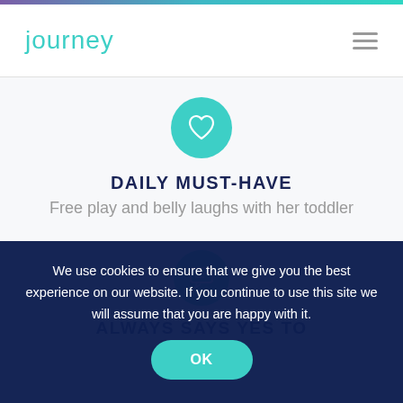journey
[Figure (illustration): Teal circle with white heart icon]
DAILY MUST-HAVE
Free play and belly laughs with her toddler
[Figure (illustration): Teal circle with white speech bubble / chat icon]
ALWAYS SAYS YES TO
We use cookies to ensure that we give you the best experience on our website. If you continue to use this site we will assume that you are happy with it.